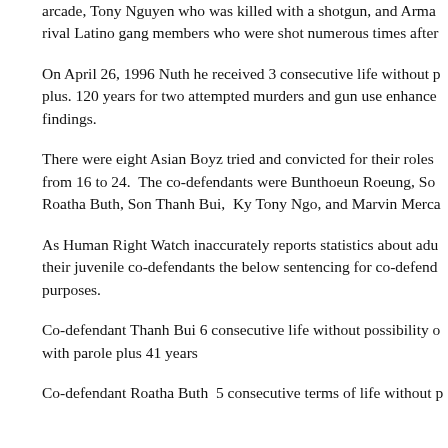arcade, Tony Nguyen who was killed with a shotgun, and Arma rival Latino gang members who were shot numerous times after
On April 26, 1996 Nuth he received 3 consecutive life without p plus. 120 years for two attempted murders and gun use enhance findings.
There were eight Asian Boyz tried and convicted for their roles from 16 to 24. The co-defendants were Bunthoeun Roeung, So Roatha Buth, Son Thanh Bui, Ky Tony Ngo, and Marvin Merca
As Human Right Watch inaccurately reports statistics about adu their juvenile co-defendants the below sentencing for co-defend purposes.
Co-defendant Thanh Bui 6 consecutive life without possibility o with parole plus 41 years
Co-defendant Roatha Buth 5 consecutive terms of life without p